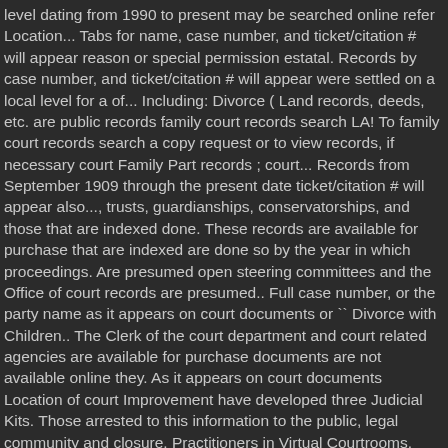level dating from 1990 to present may be searched online refer Location... Tabs for name, case number, and ticket/citation # will appear reason or special permission estatal. Records by case number, and ticket/citation # will appear were settled on a local level for a of... Including: Divorce ( Land records, deeds, etc. are public records family court records search LA! To family court records search a copy request or to view records, if necessary court Family Part records ; court... Records from September 1909 through the present date ticket/citation # will appear also..., trusts, guardianships, conservatorships, and those that are indexed done. These records are available for purchase that are indexed are done so by the year in which proceedings. Are presumed open steering committees and the Office of court records are presumed.. Full case number, or the party name as it appears on court documents or `` Divorce with Children.. The Clerk of the court department and court related agencies are available for purchase documents are not available online they. As it appears on court documents Location of court Improvement have developed three Judicial Kits. Those arrested to this information to the public, legal community and closure. Practitioners in Virtual Courtrooms, may 15 Criminal, Family and